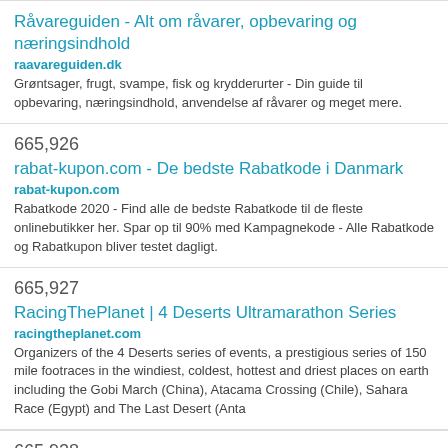Råvareguiden - Alt om råvarer, opbevaring og næringsindhold
raavareguiden.dk
Grøntsager, frugt, svampe, fisk og krydderurter - Din guide til opbevaring, næringsindhold, anvendelse af råvarer og meget mere.
665,926
rabat-kupon.com - De bedste Rabatkode i Danmark
rabat-kupon.com
Rabatkode 2020 - Find alle de bedste Rabatkode til de fleste onlinebutikker her. Spar op til 90% med Kampagnekode - Alle Rabatkode og Rabatkupon bliver testet dagligt.
665,927
RacingThePlanet | 4 Deserts Ultramarathon Series
racingtheplanet.com
Organizers of the 4 Deserts series of events, a prestigious series of 150 mile footraces in the windiest, coldest, hottest and driest places on earth including the Gobi March (China), Atacama Crossing (Chile), Sahara Race (Egypt) and The Last Desert (Anta
665,928